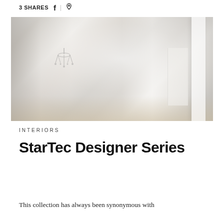3 SHARES
[Figure (photo): Blurred interior hallway/kitchen photo showing white walls, a chandelier silhouette, and light wood flooring with white cabinetry]
INTERIORS
StarTec Designer Series
This collection has always been synonymous with